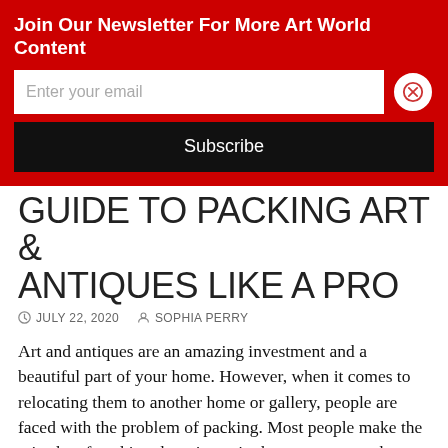Join Our Newsletter For More Art World Content
GUIDE TO PACKING ART & ANTIQUES LIKE A PRO
JULY 22, 2020   SOPHIA PERRY
Art and antiques are an amazing investment and a beautiful part of your home. However, when it comes to relocating them to another home or gallery, people are faced with the problem of packing. Most people make the mistake of packing these items in the same way as the other things in their homes. This way, they increase the risk of damaging valuable items and therefore losing their favorite objects. So, to make sure your valuable belongings are safe during transport, learn to pack them properly. Here's a simple guide to packing art and antiques like